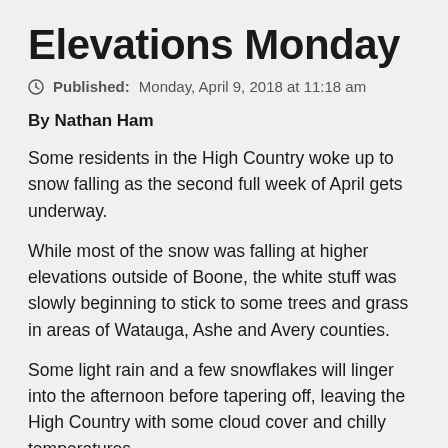Elevations Monday
Published: Monday, April 9, 2018 at 11:18 am
By Nathan Ham
Some residents in the High Country woke up to snow falling as the second full week of April gets underway.
While most of the snow was falling at higher elevations outside of Boone, the white stuff was slowly beginning to stick to some trees and grass in areas of Watauga, Ashe and Avery counties.
Some light rain and a few snowflakes will linger into the afternoon before tapering off, leaving the High Country with some cloud cover and chilly temperatures.
Tuesday and Wednesday will be the start of a nice warm-up to close out the week. High temperatures will reach the mid